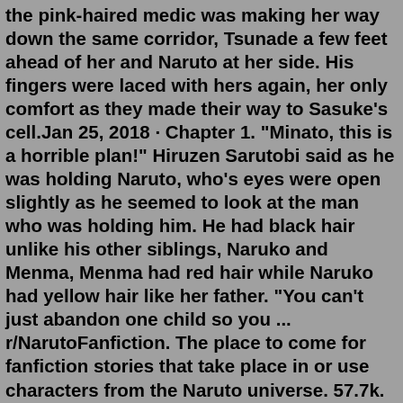the pink-haired medic was making her way down the same corridor, Tsunade a few feet ahead of her and Naruto at her side. His fingers were laced with hers again, her only comfort as they made their way to Sasuke's cell.Jan 25, 2018 · Chapter 1. "Minato, this is a horrible plan!" Hiruzen Sarutobi said as he was holding Naruto, who's eyes were open slightly as he seemed to look at the man who was holding him. He had black hair unlike his other siblings, Naruko and Menma, Menma had red hair while Naruko had yellow hair like her father. "You can't just abandon one child so you ... r/NarutoFanfiction. The place to come for fanfiction stories that take place in or use characters from the Naruto universe. 57.7k. Members. 123. Online. Created Sep 12, 2013. Join. help Reddit coins Reddit premium. Apr 21, 2020 · 1 Sasuke. While fans love Sasuke, they have to know that complete forgiveness was not justified. He turned his back on his village for power, hunted down his brother, and became a terrorist and mass murderer. Naruto giving him some full pardon for his crimes is a